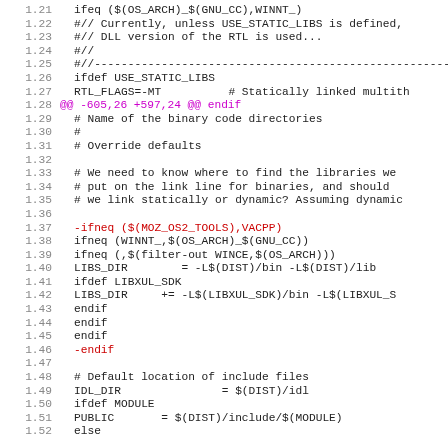Code diff view showing lines 1.21-1.52 of a Makefile with red and purple diff markers
[Figure (screenshot): Source code diff view of a Makefile showing line numbers 1.21 through 1.52, with standard code in dark color, deleted lines (prefixed with -) in red, and diff chunk header in purple/magenta]